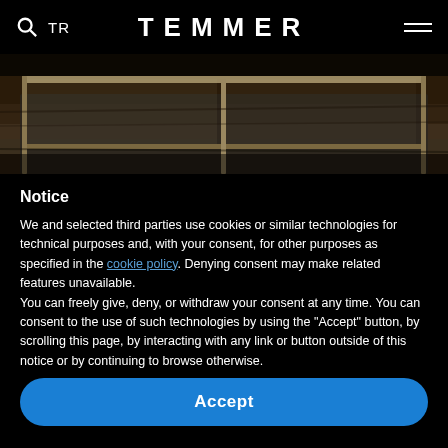TR  TEMMER  [menu icon]
[Figure (photo): Photo of a glass-top metal frame coffee table on a textured rug, cropped to show only the bottom frame portion]
Notice
We and selected third parties use cookies or similar technologies for technical purposes and, with your consent, for other purposes as specified in the cookie policy. Denying consent may make related features unavailable.
You can freely give, deny, or withdraw your consent at any time. You can consent to the use of such technologies by using the "Accept" button, by scrolling this page, by interacting with any link or button outside of this notice or by continuing to browse otherwise.
Accept